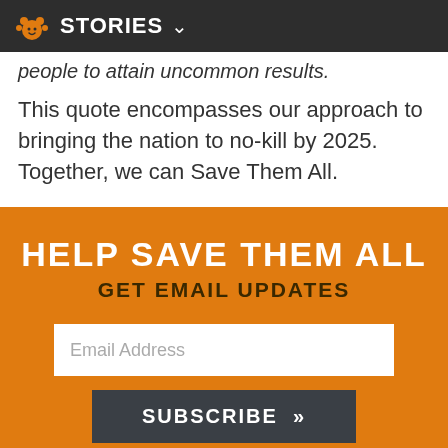STORIES
people to attain uncommon results.
This quote encompasses our approach to bringing the nation to no-kill by 2025. Together, we can Save Them All.
HELP SAVE THEM ALL
GET EMAIL UPDATES
Email Address
SUBSCRIBE »